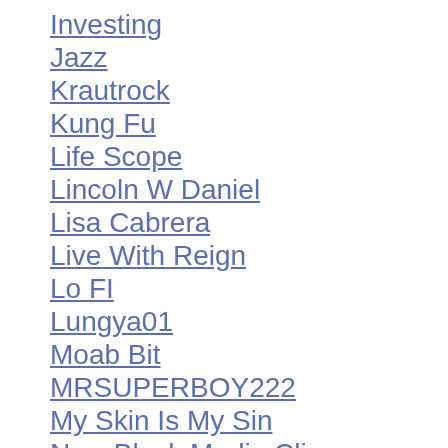Investing
Jazz
Krautrock
Kung Fu
Life Scope
Lincoln W Daniel
Lisa Cabrera
Live With Reign
Lo FI
Lungya01
Moab Bit
MRSUPERBOY222
My Skin Is My Sin
New Black Media Clips
Nicole's View
Patrick Heyman
Perfectly Flawed
Professor BlackTruth
Rare Groove